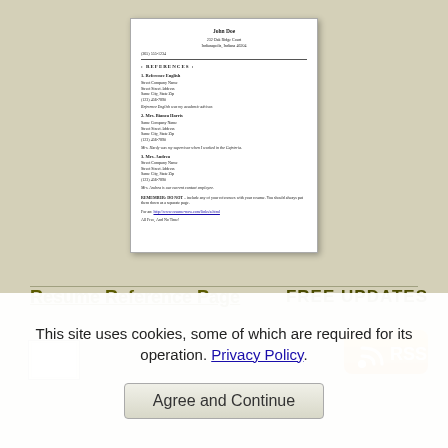[Figure (illustration): A thumbnail preview of a resume reference page document showing name 'John Doe', address in Indianapolis Indiana, phone number, a REFERENCES section with three references listed (Reference English, Mrs. Bianca Harris, Mrs. Andrea), and a REMEMBER DO NOT note at the bottom with a hyperlink.]
Resume Reference Page
[Figure (illustration): FREE UPDATES text banner]
[Figure (illustration): Small document thumbnail image]
[Figure (illustration): RSS feed orange icon button]
This site uses cookies, some of which are required for its operation. Privacy Policy.
Agree and Continue